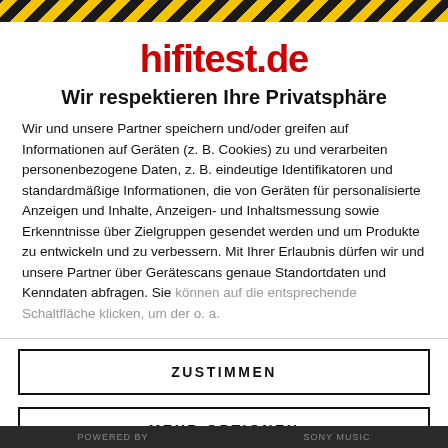[Figure (other): Yellow and black diagonal hazard stripe bar at top of page]
hifitest.de
Wir respektieren Ihre Privatsphäre
Wir und unsere Partner speichern und/oder greifen auf Informationen auf Geräten (z. B. Cookies) zu und verarbeiten personenbezogene Daten, z. B. eindeutige Identifikatoren und standardmäßige Informationen, die von Geräten für personalisierte Anzeigen und Inhalte, Anzeigen- und Inhaltsmessung sowie Erkenntnisse über Zielgruppen gesendet werden und um Produkte zu entwickeln und zu verbessern. Mit Ihrer Erlaubnis dürfen wir und unsere Partner über Gerätescans genaue Standortdaten und Kenndaten abfragen. Sie können auf die entsprechende Schaltfläche klicken, um der o. a.
ZUSTIMMEN
MEHR OPTIONEN
[Figure (other): Dark grey footer bar with faint text at bottom of page]